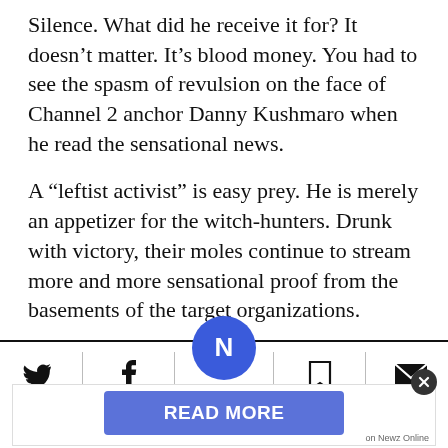Silence. What did he receive it for? It doesn't matter. It's blood money. You had to see the spasm of revulsion on the face of Channel 2 anchor Danny Kushmaro when he read the sensational news.
A “leftist activist” is easy prey. He is merely an appetizer for the witch-hunters. Drunk with victory, their moles continue to stream more and more sensational proof from the basements of the target organizations.
[Figure (other): Social sharing toolbar with Twitter, Facebook, bookmark, and email icons separated by vertical dividers, with a blue circular Newz logo centered above the bar. Below is a 'READ MORE' button in blue and a close button.]